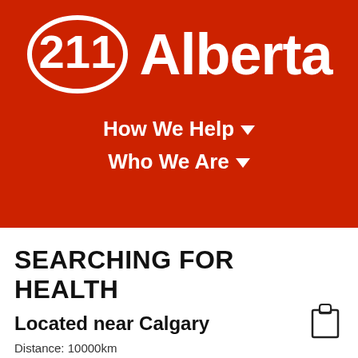[Figure (logo): 211 Alberta logo: white oval with '211' inside and 'Alberta' text to the right, on red background]
How We Help ▼
Who We Are ▼
SEARCHING FOR HEALTH
Located near Calgary
Distance: 10000km